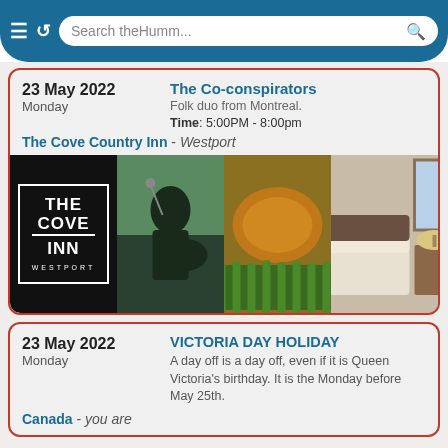Search theHumm...
23 May 2022
Monday
The Co-conspirators
Folk duo from Montreal.
Time: 5:00PM - 8:00pm
The Cove Country Inn - Westport
[Figure (photo): Three panel image: The Cove Inn Westport logo on black background, a female musician playing guitar on stage with scenic background, a grilled chicken dish with asparagus, and a cozy bedroom interior.]
23 May 2022
Monday
VICTORIA DAY HOLIDAY
A day off is a day off, even if it is Queen Victoria's birthday. It is the Monday before May 25th.
Canada - you are